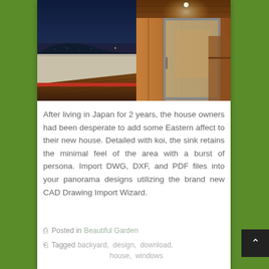[Figure (photo): Nighttime photo of a modern house exterior deck/balcony with wooden flooring and sliding glass doors, warm interior lighting against a dark blue twilight sky with city lights in the background.]
After living in Japan for 2 years, the house owners had been desperate to add some Eastern affect to their new house. Detailed with koi, the sink retains the minimal feel of the area with a burst of persona. Import DWG, DXF, and PDF files into your panorama designs utilizing the brand new CAD Drawing Import Wizard.
Posted in Beautiful Garden
Tagged backyard, design, download, house, windows